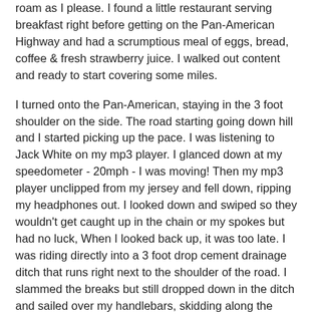roam as I please.  I found a little restaurant serving breakfast right before getting on the Pan-American Highway and had a scrumptious meal of eggs, bread, coffee & fresh strawberry juice.  I walked out content and ready to start covering some miles.
I turned onto the Pan-American, staying in the 3 foot shoulder on the side.  The road starting going down hill and I started picking up the pace.  I was listening to Jack White on my mp3 player.  I glanced down at my speedometer - 20mph - I was moving!  Then my mp3 player unclipped from my jersey and fell down, ripping my headphones out.  I looked down and swiped so they wouldn't get caught up in the chain or my spokes but had no luck,  When I looked back up, it was too late.  I was riding directly into a 3 foot drop cement drainage ditch that runs right next to the shoulder of the road.  I slammed the breaks but still dropped down in the ditch and sailed over my handlebars, skidding along the cement.  It all happened very quickly and I remember ending up on my back, looking up at cars passing above on the highway.  I started yelling "Ayudame" or "Help me" in Spanish and within a minute there was a police officer.  I had